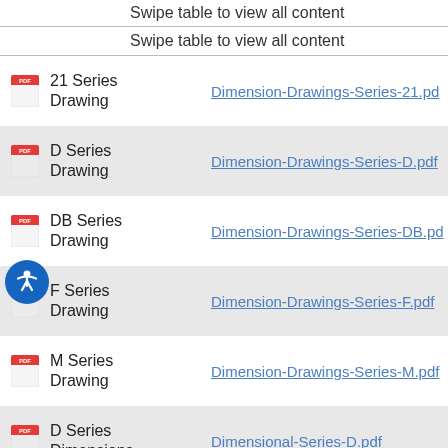Swipe table to view all content
Swipe table to view all content
|  | Name | Link |
| --- | --- | --- |
| [pdf] | 21 Series Drawing | Dimension-Drawings-Series-21.pd |
| [pdf] | D Series Drawing | Dimension-Drawings-Series-D.pdf |
| [pdf] | DB Series Drawing | Dimension-Drawings-Series-DB.pd |
| [pdf] | F Series Drawing | Dimension-Drawings-Series-F.pdf |
| [pdf] | M Series Drawing | Dimension-Drawings-Series-M.pdf |
| [pdf] | D Series Dimensions | Dimensional-Series-D.pdf |
| [pdf] | 21 Series Manual | OwnerManual-Series21_DeckLock |
| [pdf] | 21 Series Manual No | OwnerManual- |